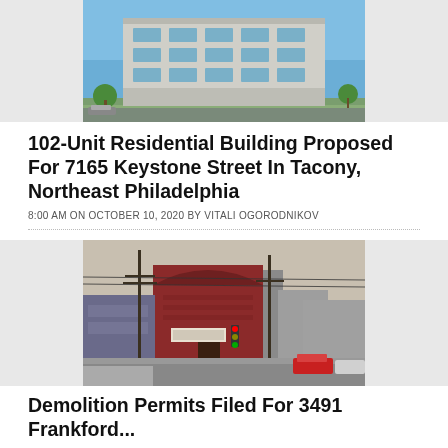[Figure (photo): Rendering of a modern 5-story residential apartment building at 7165 Keystone Street, Tacony, Northeast Philadelphia]
102-Unit Residential Building Proposed For 7165 Keystone Street In Tacony, Northeast Philadelphia
8:00 AM ON OCTOBER 10, 2020 BY VITALI OGORODNIKOV
[Figure (photo): Street-level photo of a red brick building at 3491 Frankford, corner lot with utility poles and parked cars]
Demolition Permits Filed For 3491 Frankford...